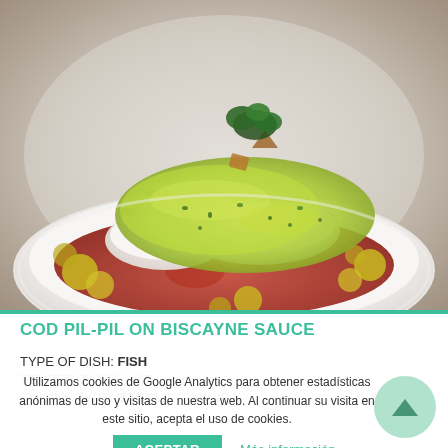[Figure (photo): A white bowl containing cod pil-pil with green sauce on top, red Biscayne sauce below, garnished with parsley and small round potato/chickpea shapes, on a white background.]
COD PIL-PIL ON BISCAYNE SAUCE
TYPE OF DISH: FISH
TEMPERATURE: HOT
CUISINE TYPE: BASQUE CUISINE
Utilizamos cookies de Google Analytics para obtener estadísticas anónimas de uso y visitas de nuestra web. Al continuar su visita en este sitio, acepta el uso de cookies.
ACEPTAR
Más información